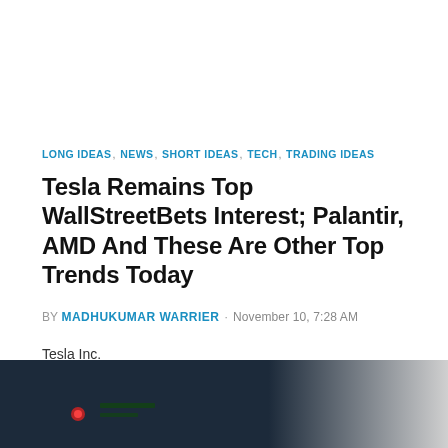LONG IDEAS, NEWS, SHORT IDEAS, TECH, TRADING IDEAS
Tesla Remains Top WallStreetBets Interest; Palantir, AMD And These Are Other Top Trends Today
BY MADHUKUMAR WARRIER · November 10, 7:28 AM
Tesla Inc.
AMD
[Figure (photo): Stock market trading screen with financial data displayed, dark background with red and green indicators]